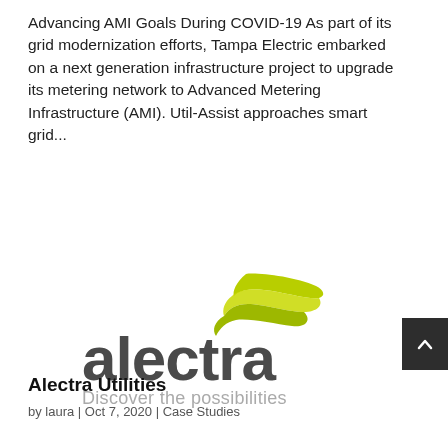Advancing AMI Goals During COVID-19 As part of its grid modernization efforts, Tampa Electric embarked on a next generation infrastructure project to upgrade its metering network to Advanced Metering Infrastructure (AMI). Util-Assist approaches smart grid...
[Figure (logo): Alectra logo with green wing/swoosh graphic above the word 'alectra' in dark gray, and tagline 'Discover the possibilities' below in light gray]
Alectra Utilities
by laura | Oct 7, 2020 | Case Studies